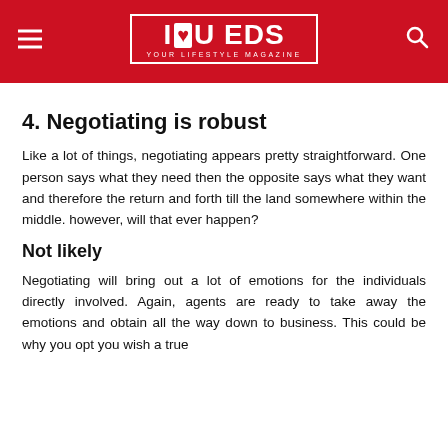I ♥ U EDS — YOUR LIFESTYLE MAGAZINE
4. Negotiating is robust
Like a lot of things, negotiating appears pretty straightforward. One person says what they need then the opposite says what they want and therefore the return and forth till the land somewhere within the middle. however, will that ever happen?
Not likely
Negotiating will bring out a lot of emotions for the individuals directly involved. Again, agents are ready to take away the emotions and obtain all the way down to business. This could be why you opt you wish a true